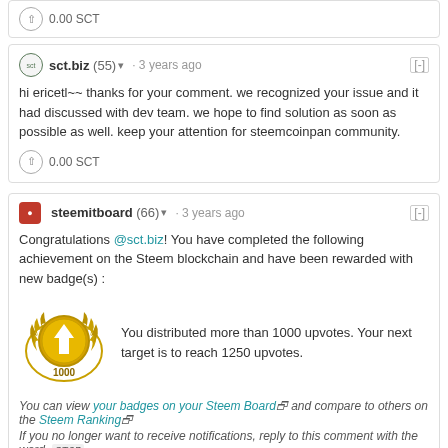0.00 SCT
sct.biz (55) · 3 years ago
hi ericetl~~ thanks for your comment. we recognized your issue and it had discussed with dev team. we hope to find solution as soon as possible as well. keep your attention for steemcoinpan community.
0.00 SCT
steemitboard (66) · 3 years ago
Congratulations @sct.biz! You have completed the following achievement on the Steem blockchain and have been rewarded with new badge(s) :
[Figure (illustration): Gold badge with upvote arrow symbol and '1000' label, surrounded by laurel wreath]
You distributed more than 1000 upvotes. Your next target is to reach 1250 upvotes.
You can view your badges on your Steem Board and compare to others on the Steem Ranking
If you no longer want to receive notifications, reply to this comment with the word STOP
To support your work, I also upvoted your post!